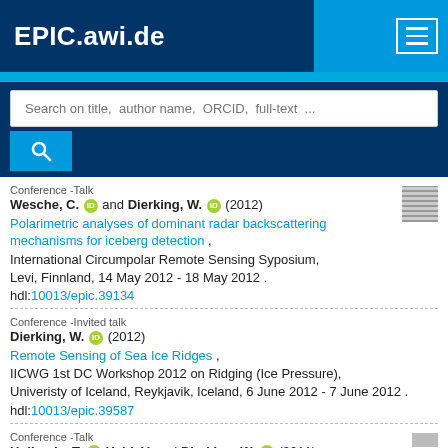EPIC.awi.de
Search on title, author name, ORCID, full-text ...
Conference -Talk
Wesche, C. and Dierking, W. (2012)
Polarimetric analyses of dominant radar backscattering mechanisms for iceberg detection ,
International Circumpolar Remote Sensing Syposium, Levi, Finnland, 14 May 2012 - 18 May 2012 .
hdl:10013/epic.39134
Conference -Invited talk
Dierking, W. (2012)
Remote Sensing of Sea Ice Ridges ,
IICWG 1st DC Workshop 2012 on Ridging (Ice Pressure), Univeristy of Iceland, Reykjavik, Iceland, 6 June 2012 - 7 June 2012 .
hdl:10013/epic.39587
Conference -Talk
Hollands, T. Haid, V. and Dierking, W. (2011)